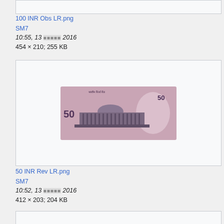[Figure (photo): Top cropped image box showing partial banknote (100 INR obverse)]
100 INR Obs LR.png
SM7
10:55, 13 ███████ 2016
454 × 210; 255 KB
[Figure (photo): 50 INR reverse banknote image showing Parliament building on a pinkish/lilac note]
50 INR Rev LR.png
SM7
10:52, 13 ███████ 2016
412 × 203; 204 KB
[Figure (photo): Bottom partial image box (cropped)]